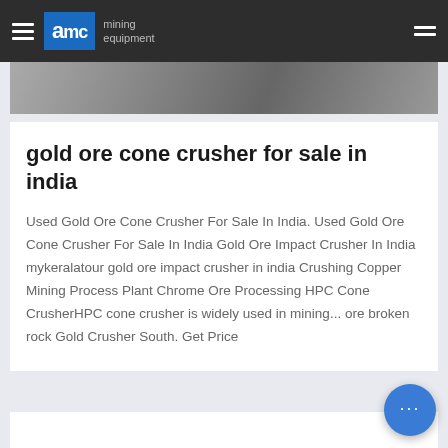AMC mining equipment
[Figure (photo): Partial image of mining equipment or ore, cropped at top]
gold ore cone crusher for sale in india
Used Gold Ore Cone Crusher For Sale In India. Used Gold Ore Cone Crusher For Sale In India Gold Ore Impact Crusher In India mykeralatour gold ore impact crusher in india Crushing Copper Mining Process Plant Chrome Ore Processing HPC Cone CrusherHPC cone crusher is widely used in mining... ore broken rock Gold Crusher South. Get Price